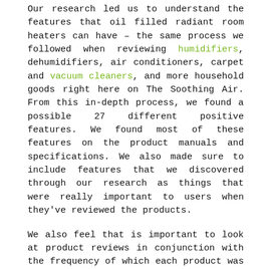Our research led us to understand the features that oil filled radiant room heaters can have – the same process we followed when reviewing humidifiers, dehumidifiers, air conditioners, carpet and vacuum cleaners, and more household goods right here on The Soothing Air. From this in-depth process, we found a possible 27 different positive features. We found most of these features on the product manuals and specifications. We also made sure to include features that we discovered through our research as things that were really important to users when they've reviewed the products.
We also feel that is important to look at product reviews in conjunction with the frequency of which each product was reviewed. If a product is reviewed frequently and positively, we can be sure that this is something that people are buying often and are happy with their purchase. By looking at products in this we